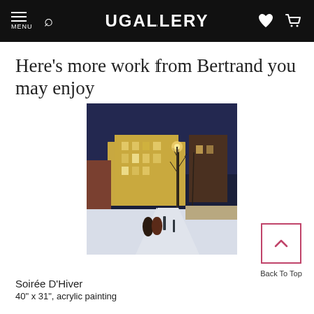UGALLERY
Here's more work from Bertrand you may enjoy
[Figure (photo): A nighttime winter street scene painting showing two figures walking away along a snowy road lined with bare trees and glowing streetlights, with a large illuminated yellow building in the background. Snow covers the ground and the scene has a moody, atmospheric quality.]
Soirée D'Hiver
40" x 31", acrylic painting
Back To Top